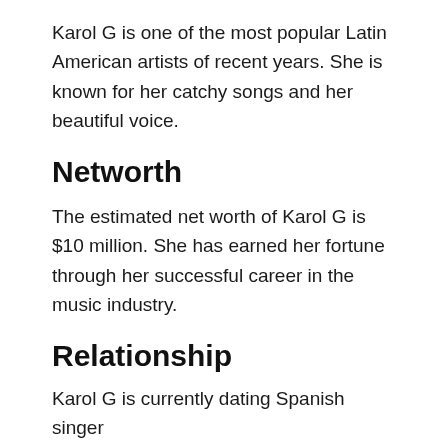Karol G is one of the most popular Latin American artists of recent years. She is known for her catchy songs and her beautiful voice.
Networth
The estimated net worth of Karol G is $10 million. She has earned her fortune through her successful career in the music industry.
Relationship
Karol G is currently dating Spanish singer